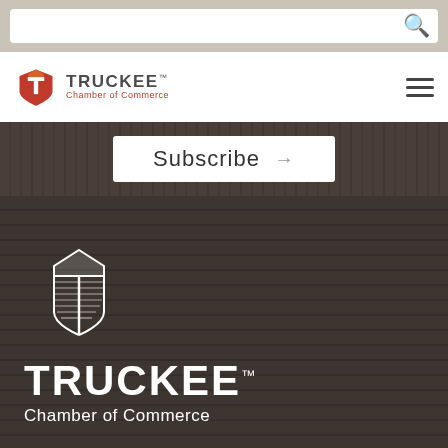[Figure (screenshot): Search bar with white input field and magnifying glass icon on tan/beige background]
[Figure (logo): Truckee Chamber of Commerce logo with orange shield icon and text in navigation bar]
Subscribe →
[Figure (logo): Truckee Chamber of Commerce white logo on dark brown wood-grain textured background with large TRUCKEE text and Chamber of Commerce subtitle]